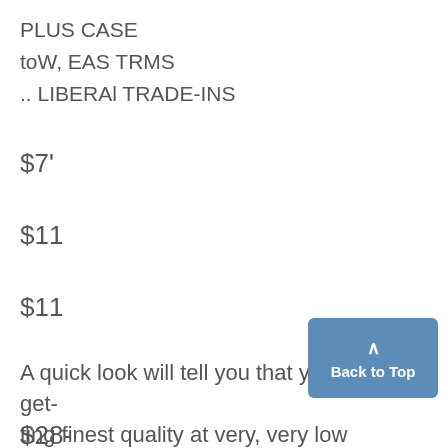PLUS CASE
toW, EAS TRMS
.. LIBERAl TRADE-INS
$7'
$11
$11
A quick look will tell you that you are getting finest quality at very, very low prices
$28-